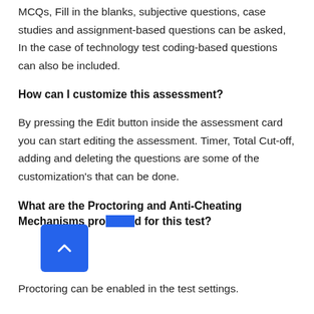MCQs, Fill in the blanks, subjective questions, case studies and assignment-based questions can be asked, In the case of technology test coding-based questions can also be included.
How can I customize this assessment?
By pressing the Edit button inside the assessment card you can start editing the assessment. Timer, Total Cut-off, adding and deleting the questions are some of the customization's that can be done.
What are the Proctoring and Anti-Cheating Mechanisms provided for this test?
Proctoring can be enabled in the test settings.